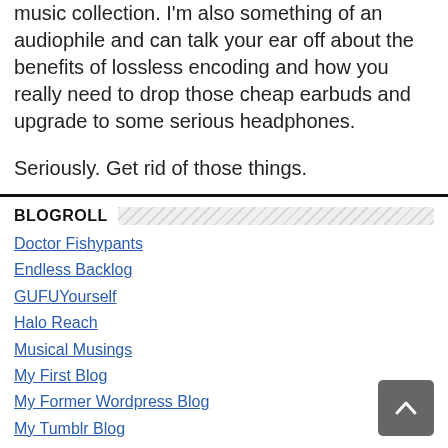music collection. I'm also something of an audiophile and can talk your ear off about the benefits of lossless encoding and how you really need to drop those cheap earbuds and upgrade to some serious headphones.
Seriously. Get rid of those things.
BLOGROLL
Doctor Fishypants
Endless Backlog
GUFUYourself
Halo Reach
Musical Musings
My First Blog
My Former Wordpress Blog
My Tumblr Blog